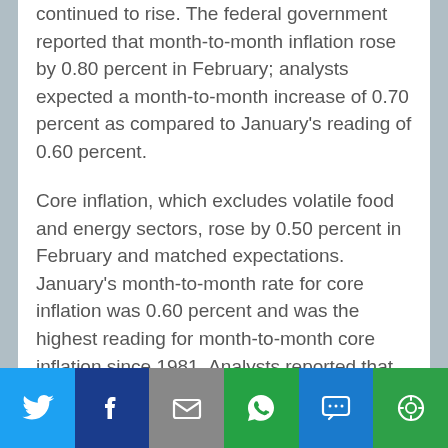continued to rise. The federal government reported that month-to-month inflation rose by 0.80 percent in February; analysts expected a month-to-month increase of 0.70 percent as compared to January's reading of 0.60 percent.
Core inflation, which excludes volatile food and energy sectors, rose by 0.50 percent in February and matched expectations. January's month-to-month rate for core inflation was 0.60 percent and was the highest reading for month-to-month core inflation since 1981. Analysts reported that high inflation was impacting low and moderate-income Americans more as rapidly rising costs for housing, food, and fuel rose faster than wages for most
[Figure (infographic): Social media share bar at the bottom with Twitter (blue), Facebook (dark blue), Email (gray), WhatsApp (green), SMS (blue), and More (green) buttons with their respective icons.]